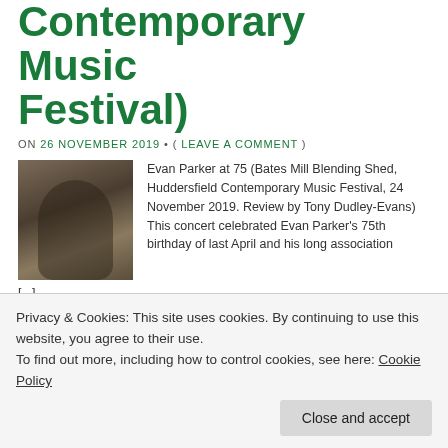Contemporary Music Festival)
ON 26 NOVEMBER 2019 • ( LEAVE A COMMENT )
[Figure (photo): Photo of Evan Parker playing saxophone]
Evan Parker at 75 (Bates Mill Blending Shed, Huddersfield Contemporary Music Festival, 24 November 2019. Review by Tony Dudley-Evans) This concert celebrated Evan Parker's 75th birthday of last April and his long association [...]
Evan Parker with
Privacy & Cookies: This site uses cookies. By continuing to use this website, you agree to their use.
To find out more, including how to control cookies, see here: Cookie Policy
Close and accept